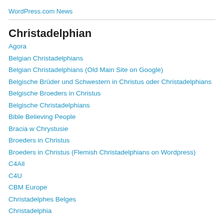WordPress.com News
Christadelphian
Agora
Belgian Christadelphians
Belgian Christadelphians (Old Main Site on Google)
Belgische Brüder und Schwestern in Christus oder Christadelphians
Belgische Broeders in Christus
Belgische Christadelphians
Bible Believing People
Bracia w Chrystusie
Broeders in Christus
Broeders in Christus (Flemish Christadelphians on Wordpress)
C4All
C4U
CBM Europe
Christadelphes Belges
Christadelphia